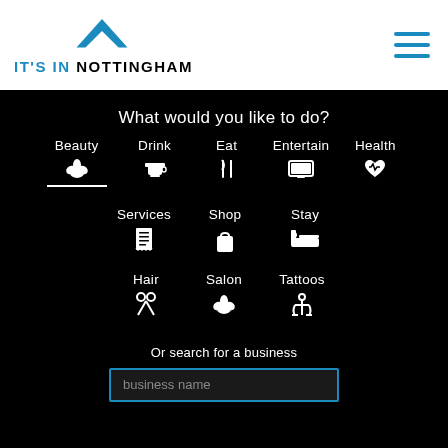[Figure (logo): It's In Nottingham logo with blue chevron/arrow pointing upward and text IT'S IN NOTTINGHAM]
What would you like to do?
Beauty
Drink
Eat
Entertain
Health
Services
Shop
Stay
Hair
Salon
Tattoos
Or search for a business
business name